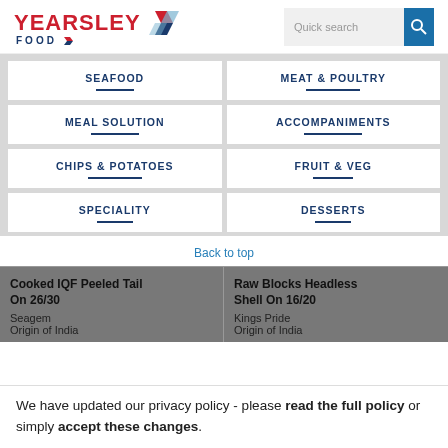YEARSLEY FOOD | Quick search
SEAFOOD
MEAT & POULTRY
MEAL SOLUTION
ACCOMPANIMENTS
CHIPS & POTATOES
FRUIT & VEG
SPECIALITY
DESSERTS
Back to top
Cooked IQF Peeled Tail On 26/30
Seagem
Origin of India
Raw Blocks Headless Shell On 16/20
Kings Pride
Origin of India
We have updated our privacy policy - please read the full policy or simply accept these changes.